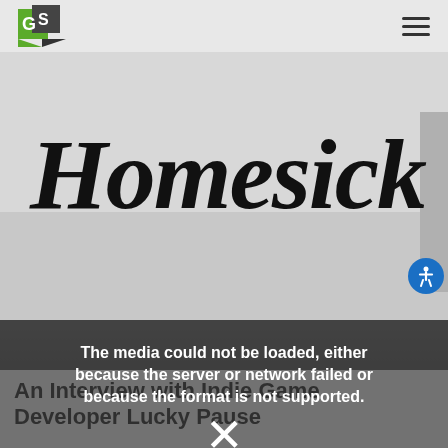GS logo and hamburger menu
[Figure (illustration): Homesick game logo in hand-drawn style font on light grey background]
[Figure (screenshot): Video player showing media error: 'The media could not be loaded, either because the server or network failed or because the format is not supported.' with X dismiss icon. Background shows Adam Scott at Verizon event. Caption reads 'Adam Scott describes "really, really fun"']
An Interview with Indie Game Developer Lucky Pause